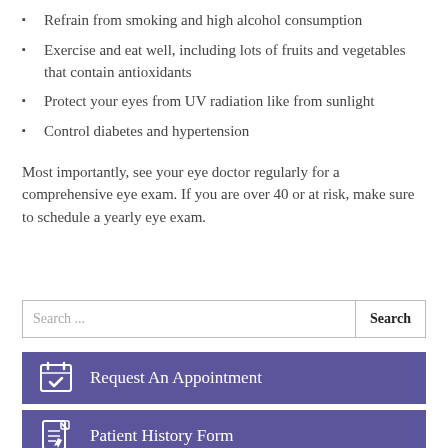Refrain from smoking and high alcohol consumption
Exercise and eat well, including lots of fruits and vegetables that contain antioxidants
Protect your eyes from UV radiation like from sunlight
Control diabetes and hypertension
Most importantly, see your eye doctor regularly for a comprehensive eye exam. If you are over 40 or at risk, make sure to schedule a yearly eye exam.
Search ...
Request An Appointment
Patient History Form